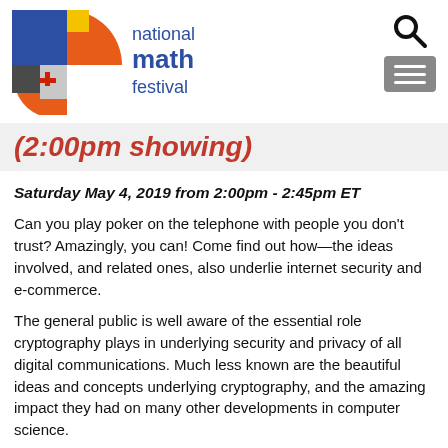[Figure (logo): National Math Festival logo with colorful geometric shapes and text]
(2:00pm showing)
Saturday May 4, 2019 from 2:00pm - 2:45pm ET
Can you play poker on the telephone with people you don't trust? Amazingly, you can! Come find out how—the ideas involved, and related ones, also underlie internet security and e-commerce.
The general public is well aware of the essential role cryptography plays in underlying security and privacy of all digital communications. Much less known are the beautiful ideas and concepts underlying cryptography, and the amazing impact they had on many other developments in computer science.